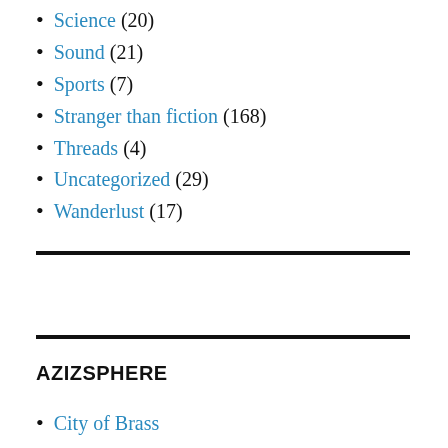Science (20)
Sound (21)
Sports (7)
Stranger than fiction (168)
Threads (4)
Uncategorized (29)
Wanderlust (17)
AZIZSPHERE
City of Brass